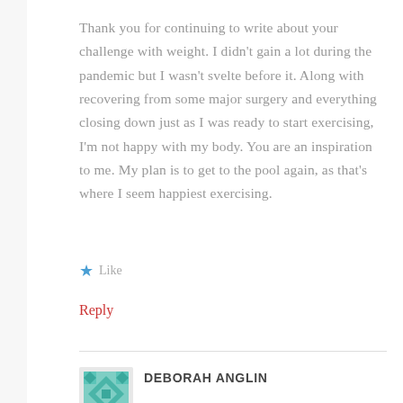Thank you for continuing to write about your challenge with weight. I didn't gain a lot during the pandemic but I wasn't svelte before it. Along with recovering from some major surgery and everything closing down just as I was ready to start exercising, I'm not happy with my body. You are an inspiration to me. My plan is to get to the pool again, as that's where I seem happiest exercising.
★ Like
Reply
DEBORAH ANGLIN